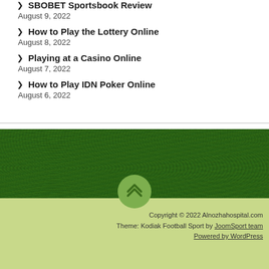SBOBET Sportsbook Review
August 9, 2022
How to Play the Lottery Online
August 8, 2022
Playing at a Casino Online
August 7, 2022
How to Play IDN Poker Online
August 6, 2022
[Figure (other): Scroll to top button on grass background]
Copyright © 2022 Alnozhahospital.com
Theme: Kodiak Football Sport by JoomSport team
Powered by WordPress